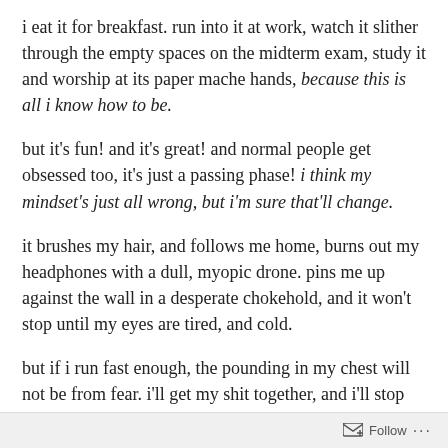i eat it for breakfast. run into it at work, watch it slither through the empty spaces on the midterm exam, study it and worship at its paper mache hands, because this is all i know how to be.
but it's fun! and it's great! and normal people get obsessed too, it's just a passing phase! i think my mindset's just all wrong, but i'm sure that'll change.
it brushes my hair, and follows me home, burns out my headphones with a dull, myopic drone. pins me up against the wall in a desperate chokehold, and it won't stop until my eyes are tired, and cold.
but if i run fast enough, the pounding in my chest will not be from fear. i'll get my shit together, and i'll stop doing this, iron out all my mind's ugly little creases out into a flat, freshly laundered sheet.
Follow